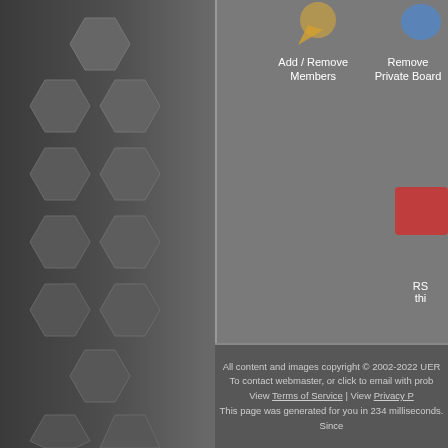[Figure (screenshot): Website admin page showing Add/Remove Members and Remove Private Board icons at top right]
[Figure (screenshot): RSS feed icon partially visible at right edge]
Icons:
Unavailable, please l...
New thread since yo...
New messages poste...
Same as above, exce...
No new messages si...
Same as above, exce...
All content and images copyright © 2002-2022 UER. To contact webmaster, or click to email with prob... View Terms of Service | View Privacy P... This page was generated for you in 234 milliseconds. Since...